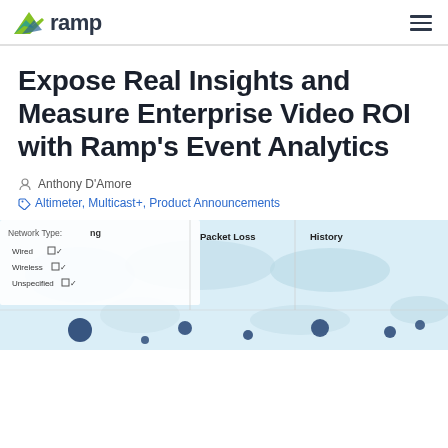ramp
Expose Real Insights and Measure Enterprise Video ROI with Ramp's Event Analytics
Anthony D'Amore
Altimeter, Multicast+, Product Announcements
[Figure (screenshot): Screenshot of Ramp analytics dashboard showing a map interface with network type filters (Wired, Wireless, Unspecified), Packet Loss column, and History column with geographic data points shown as dark blue circles on a light blue map]